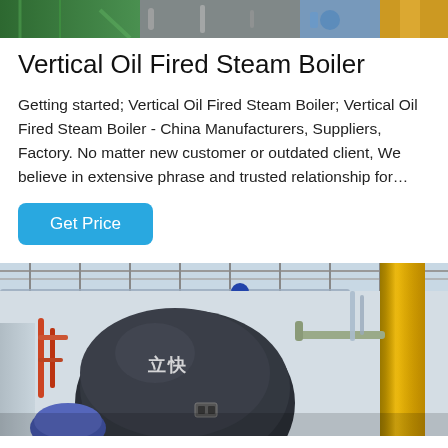[Figure (photo): Top banner image showing industrial boiler equipment, green, grey and yellow colored machinery]
Vertical Oil Fired Steam Boiler
Getting started; Vertical Oil Fired Steam Boiler; Vertical Oil Fired Steam Boiler - China Manufacturers, Suppliers, Factory. No matter new customer or outdated client, We believe in extensive phrase and trusted relationship for...
Get Price
[Figure (photo): Industrial boiler facility interior showing large dark spherical/cylindrical boiler units with Chinese characters, yellow chimney stack, overhead pipes and industrial ceiling structure]